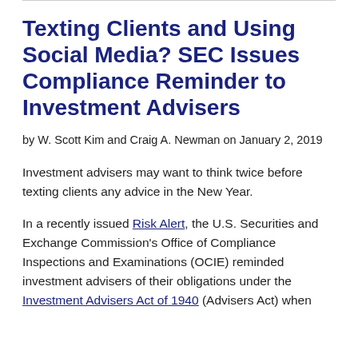Texting Clients and Using Social Media? SEC Issues Compliance Reminder to Investment Advisers
by W. Scott Kim and Craig A. Newman on January 2, 2019
Investment advisers may want to think twice before texting clients any advice in the New Year.
In a recently issued Risk Alert, the U.S. Securities and Exchange Commission’s Office of Compliance Inspections and Examinations (OCIE) reminded investment advisers of their obligations under the Investment Advisers Act of 1940 (Advisers Act) when